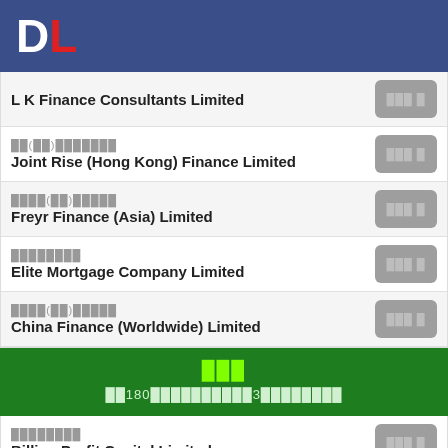DL
L K Finance Consultants Limited
聯升(香港)財務有限公司
Joint Rise (Hong Kong) Finance Limited
富達爾(亞洲)財務
Freyr Finance (Asia) Limited
精英按揭有限公司
Elite Mortgage Company Limited
中國財務(環球)有限公司
China Finance (Worldwide) Limited
最新消息
最新180個貸款及財務公司3個優惠產品比較
億順資本有限公司
Billion Profit Capital Limited
億順資本有限公司